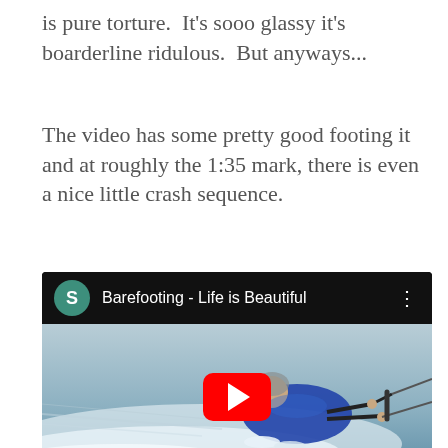is pure torture.  It's sooo glassy it's boarderline ridulous.  But anyways...
The video has some pretty good footing it and at roughly the 1:35 mark, there is even a nice little crash sequence.
[Figure (screenshot): YouTube video embed showing 'Barefooting - Life is Beautiful' with a channel icon letter S in teal, three-dot menu, and a thumbnail of a person in a blue wetsuit barefoot waterskiing, with a red YouTube play button overlay.]